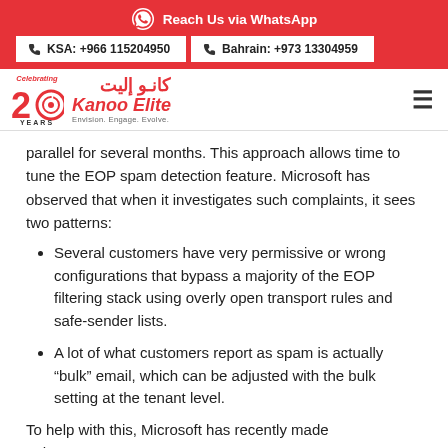Reach Us via WhatsApp
KSA: +966 115204950   Bahrain: +973 13304959
[Figure (logo): Kanoo Elite logo with 20 Years Celebrating badge, Arabic text, and tagline Envision. Engage. Evolve.]
parallel for several months. This approach allows time to tune the EOP spam detection feature. Microsoft has observed that when it investigates such complaints, it sees two patterns:
Several customers have very permissive or wrong configurations that bypass a majority of the EOP filtering stack using overly open transport rules and safe-sender lists.
A lot of what customers report as spam is actually “bulk” email, which can be adjusted with the bulk setting at the tenant level.
To help with this, Microsoft has recently made enhancements,